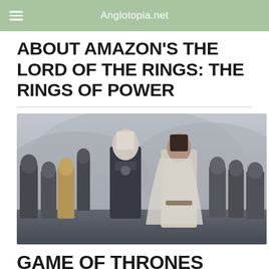Anglotopia.net
ABOUT AMAZON'S THE LORD OF THE RINGS: THE RINGS OF POWER
[Figure (photo): Scene from Amazon's The Lord of the Rings: The Rings of Power showing characters in medieval fantasy armor and robes, with a pale-haired elf warrior in dark armor standing centrally next to a woman in a white cape, surrounded by soldiers in grey armor in a misty landscape.]
GAME OF THRONES